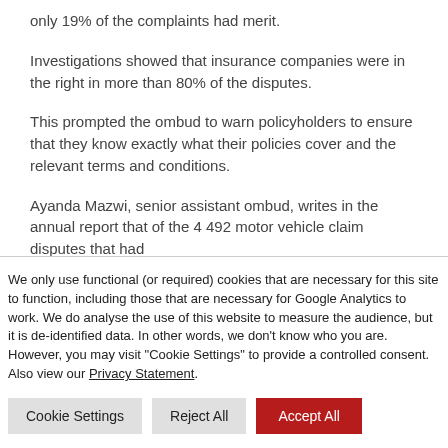only 19% of the complaints had merit.
Investigations showed that insurance companies were in the right in more than 80% of the disputes.
This prompted the ombud to warn policyholders to ensure that they know exactly what their policies cover and the relevant terms and conditions.
Ayanda Mazwi, senior assistant ombud, writes in the annual report that of the 4 492 motor vehicle claim disputes that had
We only use functional (or required) cookies that are necessary for this site to function, including those that are necessary for Google Analytics to work. We do analyse the use of this website to measure the audience, but it is de-identified data. In other words, we don't know who you are. However, you may visit "Cookie Settings" to provide a controlled consent. Also view our Privacy Statement.
Cookie Settings
Reject All
Accept All